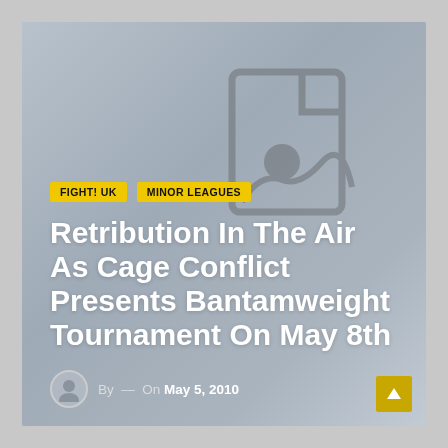[Figure (illustration): Gray gradient card background with a faded document/image placeholder icon in the upper right area]
FIGHT! UK   MINOR LEAGUES
Retribution In The Air As Cage Conflict Presents Bantamweight Tournament On May 8th
By — On May 5, 2010